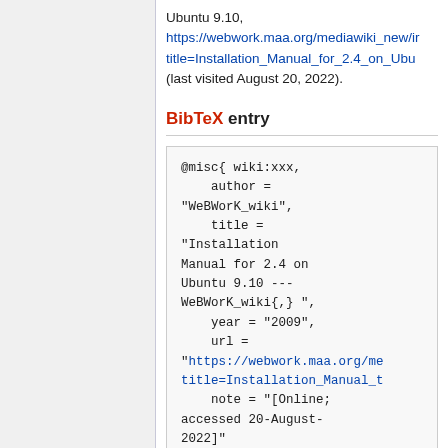Ubuntu 9.10, https://webwork.maa.org/mediawiki_new/i...title=Installation_Manual_for_2.4_on_Ubu... (last visited August 20, 2022).
BibTeX entry
@misc{ wiki:xxx,
    author =
"WeBWorK_wiki",
    title =
"Installation
Manual for 2.4 on
Ubuntu 9.10 ---
WeBWorK_wiki{,} ",
    year = "2009",
    url =
"https://webwork.maa.org/me...title=Installation_Manual_t...
    note = "[Online;
accessed 20-August-
2022]"